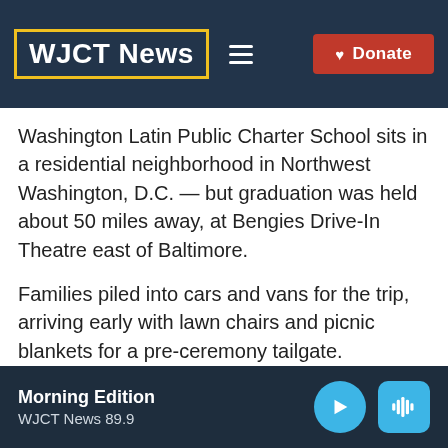WJCT News
Washington Latin Public Charter School sits in a residential neighborhood in Northwest Washington, D.C. — but graduation was held about 50 miles away, at Bengies Drive-In Theatre east of Baltimore.
Families piled into cars and vans for the trip, arriving early with lawn chairs and picnic blankets for a pre-ceremony tailgate. Graduating senior Amaya Tatum, 17, posed
Morning Edition
WJCT News 89.9